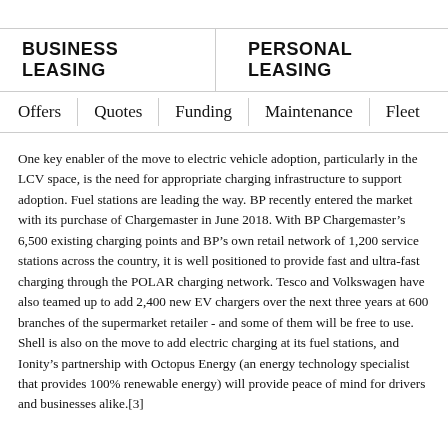BUSINESS LEASING | PERSONAL LEASING
Offers | Quotes | Funding | Maintenance | Fleet
One key enabler of the move to electric vehicle adoption, particularly in the LCV space, is the need for appropriate charging infrastructure to support adoption. Fuel stations are leading the way. BP recently entered the market with its purchase of Chargemaster in June 2018. With BP Chargemaster’s 6,500 existing charging points and BP’s own retail network of 1,200 service stations across the country, it is well positioned to provide fast and ultra-fast charging through the POLAR charging network. Tesco and Volkswagen have also teamed up to add 2,400 new EV chargers over the next three years at 600 branches of the supermarket retailer - and some of them will be free to use. Shell is also on the move to add electric charging at its fuel stations, and Ionity’s partnership with Octopus Energy (an energy technology specialist that provides 100% renewable energy) will provide peace of mind for drivers and businesses alike.[3]